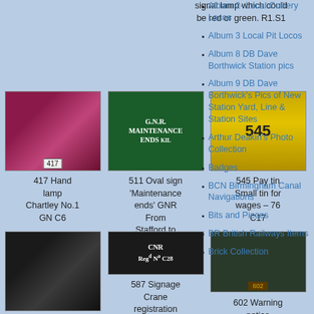signal lamp which could be red or green. R1.S1
[Figure (photo): Photo of a dark red/purple hand lamp kettle shape, labeled 417]
417 Hand lamp Chartley No.1 GN C6
[Figure (photo): Oval green sign reading G.N.R. MAINTENANCE ENDS KIL]
511 Oval sign 'Maintenance ends' GNR From Stafford to Uttoxeter line W1
[Figure (photo): Yellow/gold cylindrical pay tin with bold number 545]
545 Pay tin Small tin for wages – 76 C17
Album 2- Local Colliery Locos
Album 3 Local Pit Locos
Album 8 DB Dave Borthwick Station pics
Album 9 DB Dave Borthwick's Pics of New Station Yard, Line & Station Sites
Arthur Deakin's Photo Collection
Badges
BCN Birmingham Canal Navigations
Bits and Pieces
BR British Railways Items
Brick Collection
[Figure (photo): Dark metal lamp/signal device on green background]
[Figure (photo): Black oval sign reading CNR Reg No C28]
587 Signage Crane registration sign – C28
[Figure (photo): Green plaque warning notice labeled 602]
602 Warning notice Trespass